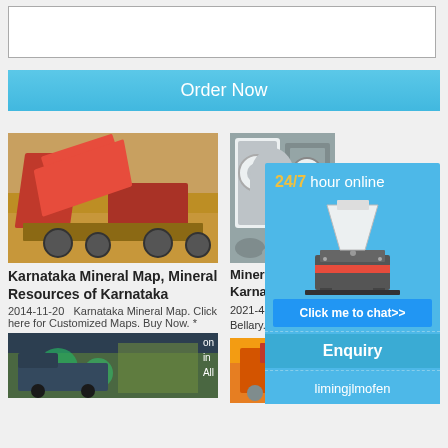[textarea input box]
Order Now
[Figure (photo): Red mining/crushing equipment on sandy ground]
Karnataka Mineral Map, Mineral Resources of Karnataka
2014-11-20   Karnataka Mineral Map. Click here for Customized Maps. Buy Now. *
on in All
[Figure (photo): Forest/nature scene with machinery]
[Figure (photo): Grey industrial mineral/ore equipment parts]
Mineral D... Karnatak...
2021-4-28 in Karna... Bellary. Th... an area
[Figure (photo): Yellow/orange industrial machinery]
[Figure (infographic): 24/7 hour online popup with cone crusher machine image, Click me to chat>> button, Enquiry section, and limingjlmofen text]